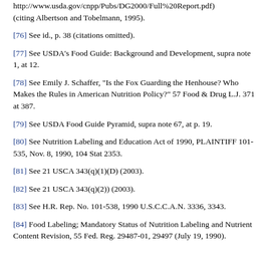http://www.usda.gov/cnpp/Pubs/DG2000/Full%20Report.pdf) (citing Albertson and Tobelmann, 1995).
[76] See id., p. 38 (citations omitted).
[77] See USDA’s Food Guide: Background and Development, supra note 1, at 12.
[78] See Emily J. Schaffer, “Is the Fox Guarding the Henhouse? Who Makes the Rules in American Nutrition Policy?” 57 Food & Drug L.J. 371 at 387.
[79] See USDA Food Guide Pyramid, supra note 67, at p. 19.
[80] See Nutrition Labeling and Education Act of 1990, PLAINTIFF 101-535, Nov. 8, 1990, 104 Stat 2353.
[81] See 21 USCA 343(q)(1)(D) (2003).
[82] See 21 USCA 343(q)(2)) (2003).
[83] See H.R. Rep. No. 101-538, 1990 U.S.C.C.A.N. 3336, 3343.
[84] Food Labeling; Mandatory Status of Nutrition Labeling and Nutrient Content Revision, 55 Fed. Reg. 29487-01, 29497 (July 19, 1990).